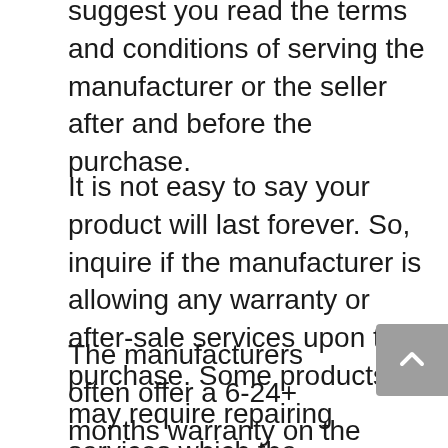suggest you read the terms and conditions of serving the manufacturer or the seller after and before the purchase.
It is not easy to say your product will last forever. So, inquire if the manufacturer is allowing any warranty or after-sale services upon the purchase. Some products may require repairing services which the manufacturer may allow sometimes. In this case, you may check the user reviews about the manufacturer's after-sales service.
The manufacturers often offer a 6-24+ months warranty on the desired product. Some may offer free or slightly paid repair services, including home repair services. So, read all the terms and conditions well or face